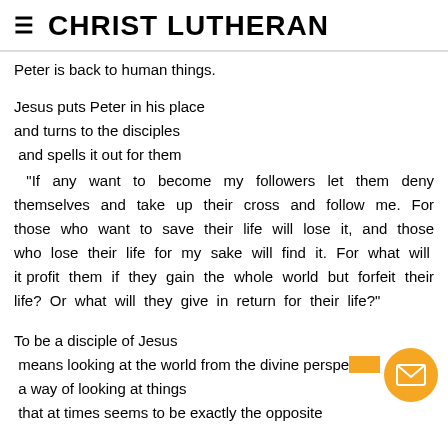CHRIST LUTHERAN
Peter is back to human things.
Jesus puts Peter in his place
and turns to the disciples
 and spells it out for them
  “If any want to become my followers let them deny themselves and take up their cross and follow me. For those who want to save their life will lose it, and those who lose their life for my sake will find it. For what will it profit them if they gain the whole world but forfeit their life? Or what will they give in return for their life?”
To be a disciple of Jesus
 means looking at the world from the divine perspective
 a way of looking at things
 that at times seems to be exactly the opposite